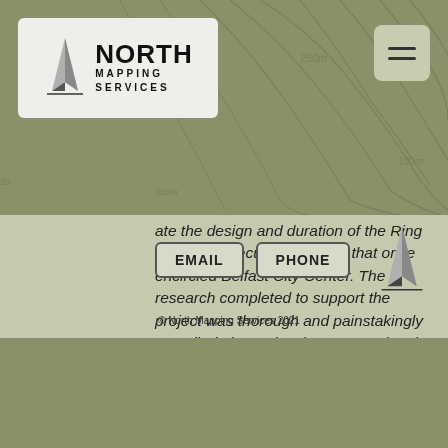[Figure (logo): North Mapping Services logo with compass arrow and topographic map background. Logo box shows compass/north arrow icon beside text NORTH MAPPING SERVICES.]
...ate the design and duration of the Ring of Steel, a security structure that once encircled Belfast City Center. The research completed to support the project was thorough and painstakingly compiled; the project is an exceptional resource. North Mapping Services/James are adept at working collaboratively, providing quality research, developing flexible, usable interfaces and delivering a high quality product" - Kate Catterall, Associate Professor of Design, University of Texas
EMAIL   PHONE   © North Mapping Services 2021